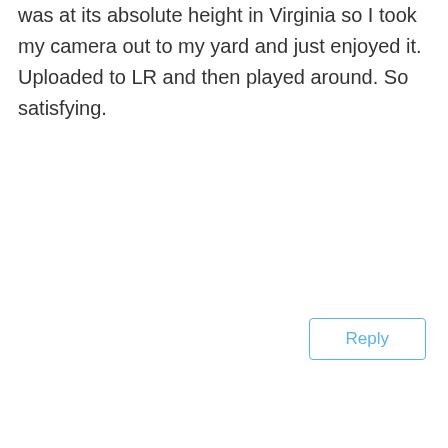was at its absolute height in Virginia so I took my camera out to my yard and just enjoyed it. Uploaded to LR and then played around. So satisfying.
Reply
Marianne Dent on April 23, 2021 at 8:21 pm
This is a great topic, Matt. Color and Dof drew me to photography, and taking a moment in time with me has kept me at it. When I look at my images, I can remember (most